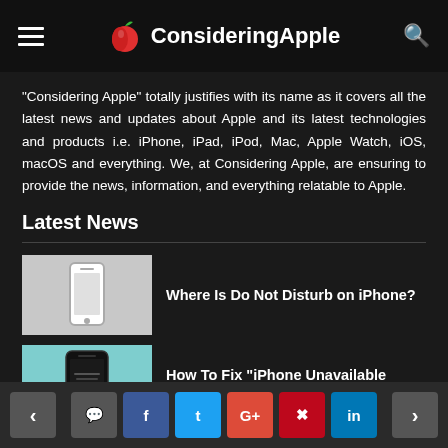ConsideringApple
“Considering Apple” totally justifies with its name as it covers all the latest news and updates about Apple and its latest technologies and products i.e. iPhone, iPad, iPod, Mac, Apple Watch, iOS, macOS and everything. We, at Considering Apple, are ensuring to provide the news, information, and everything relatable to Apple.
Latest News
Where Is Do Not Disturb on iPhone?
How To Fix "iPhone Unavailable Message" Error?
Navigation and social share bar